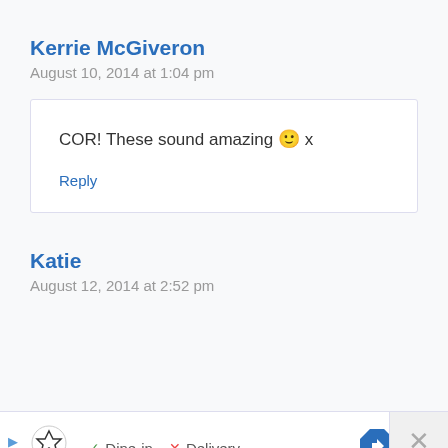Kerrie McGiveron
August 10, 2014 at 1:04 pm
COR! These sound amazing 🙂 x
Reply
Katie
August 12, 2014 at 2:52 pm
[Figure (other): Advertisement bar with TopGolf logo, Dine-in and Delivery options, navigation arrow icon, and close button]